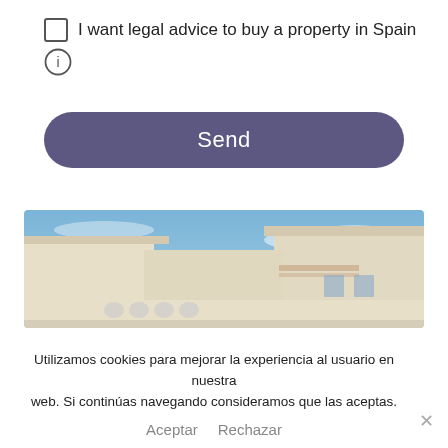I want legal advice to buy a property in Spain
[Figure (other): Info icon circle with letter i]
Send
[Figure (photo): White modern building with flat roof photographed from below against a blue sky]
Utilizamos cookies para mejorar la experiencia al usuario en nuestra web. Si continúas navegando consideramos que las aceptas.
Aceptar  Rechazar